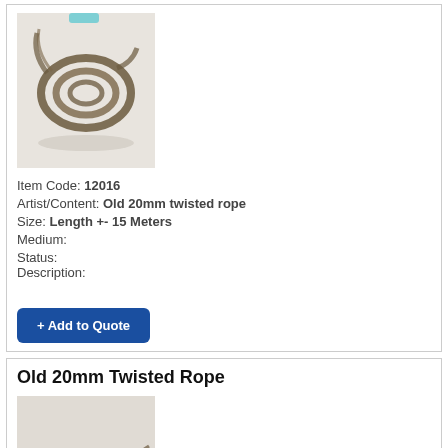[Figure (photo): Photo of old 20mm twisted rope coiled, viewed from above on white background]
Item Code: 12016
Artist/Content: Old 20mm twisted rope
Size: Length +- 15 Meters
Medium:
Status:
Description:
+ Add to Quote
Old 20mm Twisted Rope
[Figure (photo): Photo of old 20mm twisted rope laid loosely on white background]